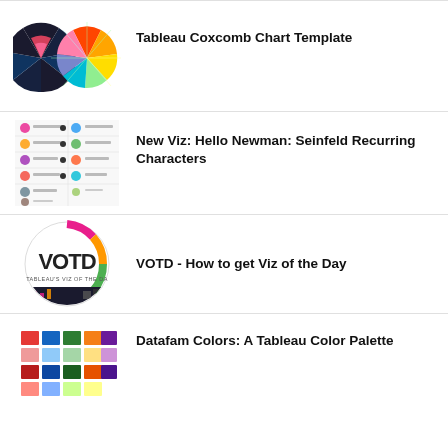[Figure (illustration): Coxcomb chart thumbnail showing two dark floral/radial chart patterns]
Tableau Coxcomb Chart Template
[Figure (illustration): Seinfeld recurring characters visualization with grid of character icons and labels]
New Viz: Hello Newman: Seinfeld Recurring Characters
[Figure (illustration): VOTD circle logo with text VOTD and TABLEAU'S VIZ OF THE DAY]
VOTD - How to get Viz of the Day
[Figure (illustration): Datafam Colors palette thumbnail with colorful grid]
Datafam Colors: A Tableau Color Palette